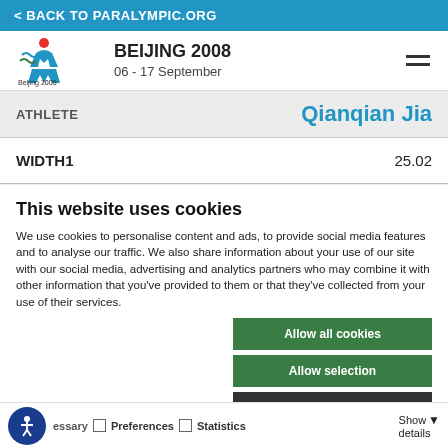< BACK TO PARALYMPIC.ORG
[Figure (logo): Beijing 2008 Paralympic Games logo with stylized figure and rings]
BEIJING 2008
06 - 17 September
| ATHLETE | Qianqian Jia |
| --- | --- |
| WIDTH1 | 25.02 |
This website uses cookies
We use cookies to personalise content and ads, to provide social media features and to analyse our traffic. We also share information about your use of our site with our social media, advertising and analytics partners who may combine it with other information that you've provided to them or that they've collected from your use of their services.
Allow all cookies
Allow selection
Use necessary cookies on
essary   Preferences   Statistics
Marketing   Amani C   Show details